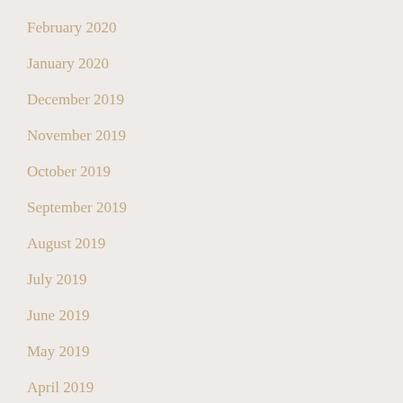February 2020
January 2020
December 2019
November 2019
October 2019
September 2019
August 2019
July 2019
June 2019
May 2019
April 2019
March 2019
CATEGORIES